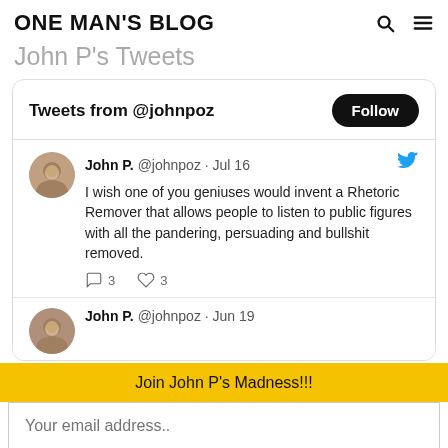ONE MAN'S BLOG
John P's Tweets
Tweets from @johnpoz
John P. @johnpoz · Jul 16
I wish one of you geniuses would invent a Rhetoric Remover that allows people to listen to public figures with all the pandering, persuading and bullshit removed.
3 3
John P. @johnpoz · Jun 19
Join John P's Madness!!!
Your email address..
HIT ME!!!